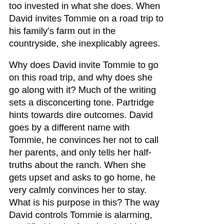too invested in what she does. When David invites Tommie on a road trip to his family's farm out in the countryside, she inexplicably agrees.
Why does David invite Tommie to go on this road trip, and why does she go along with it? Much of the writing sets a disconcerting tone. Partridge hints towards dire outcomes. David goes by a different name with Tommie, he convinces her not to call her parents, and only tells her half-truths about the ranch. When she gets upset and asks to go home, he very calmly convinces her to stay. What is his purpose in this? The way David controls Tommie is alarming, amplified by the fact that the title (which is also David's last name) lends toward the predatory nature of his actions. In a few scenes – such as when he tries to get Tommie to take a shower – the situation gets so disturbing that it's